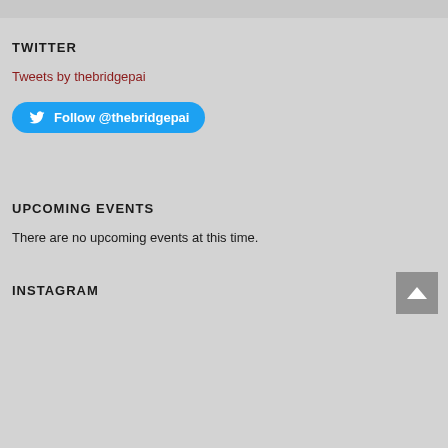TWITTER
Tweets by thebridgepai
Follow @thebridgepai
UPCOMING EVENTS
There are no upcoming events at this time.
INSTAGRAM